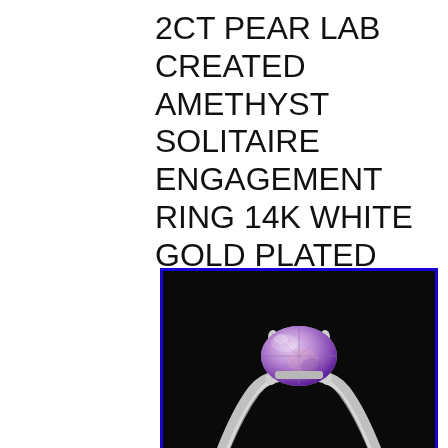2CT PEAR LAB CREATED AMETHYST SOLITAIRE ENGAGEMENT RING 14K WHITE GOLD PLATED
[Figure (photo): A pear-cut lab created amethyst solitaire engagement ring with a silver/white gold band, set against a dark black background. The gemstone is light purple/lavender in color with visible facets. The image has a blue border.]